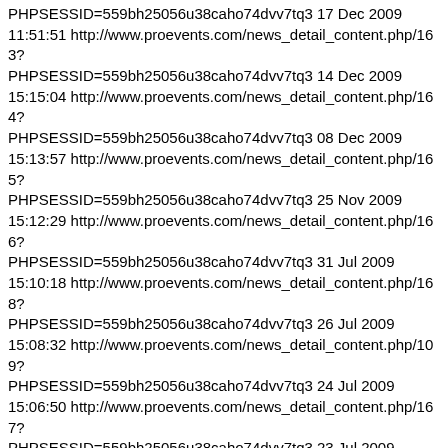PHPSESSID=559bh25056u38caho74dvv7tq3 17 Dec 2009 11:51:51 http://www.proevents.com/news_detail_content.php/163?PHPSESSID=559bh25056u38caho74dvv7tq3 14 Dec 2009 15:15:04 http://www.proevents.com/news_detail_content.php/164?PHPSESSID=559bh25056u38caho74dvv7tq3 08 Dec 2009 15:13:57 http://www.proevents.com/news_detail_content.php/165?PHPSESSID=559bh25056u38caho74dvv7tq3 25 Nov 2009 15:12:29 http://www.proevents.com/news_detail_content.php/166?PHPSESSID=559bh25056u38caho74dvv7tq3 31 Jul 2009 15:10:18 http://www.proevents.com/news_detail_content.php/168?PHPSESSID=559bh25056u38caho74dvv7tq3 26 Jul 2009 15:08:32 http://www.proevents.com/news_detail_content.php/109?PHPSESSID=559bh25056u38caho74dvv7tq3 24 Jul 2009 15:06:50 http://www.proevents.com/news_detail_content.php/167?PHPSESSID=559bh25056u38caho74dvv7tq3 23 Jul 2009 12:05:45 http://www.proevents.com/news_detail_content.php/169?PHPSESSID=559bh25056u38caho74dvv7tq3 20 Jul 2009 15:04:24 http://www.proevents.com/news_detail_content.php/171?PHPSESSID=559bh25056u38caho74dvv7tq3 19 Jul 2009 15:01:58 http://www.proevents.com/news_detail_content.php/170?PHPSESSID=559bh25056u38caho74dvv7tq3 19 Jul 2009 10:39:15 http://www.proevents.com/news_detail_content.php/172?PHPSESSID=559bh25056u38caho74dvv7tq3 18 Jul 2009 15:00:18 http://www.proevents.com/news_detail_content.php/173?PHPSESSID=559bh25056u38caho74dvv7tq3 18 Jul 2009